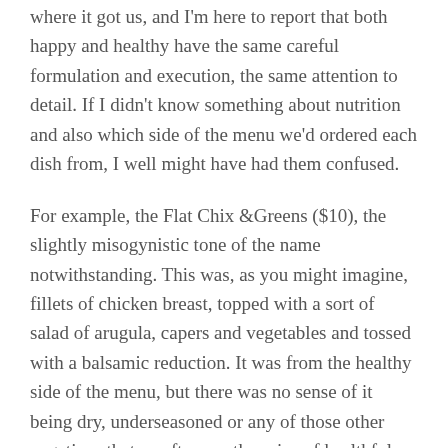where it got us, and I'm here to report that both happy and healthy have the same careful formulation and execution, the same attention to detail. If I didn't know something about nutrition and also which side of the menu we'd ordered each dish from, I well might have had them confused.
For example, the Flat Chix &Greens ($10), the slightly misogynistic tone of the name notwithstanding. This was, as you might imagine, fillets of chicken breast, topped with a sort of salad of arugula, capers and vegetables and tossed with a balsamic reduction. It was from the healthy side of the menu, but there was no sense of it being dry, underseasoned or any of those other negatives that so often are the price of healthful food.
And so it was with the Slaw Chee (included as a side with our sandwich, or $2.50 separately), apparently